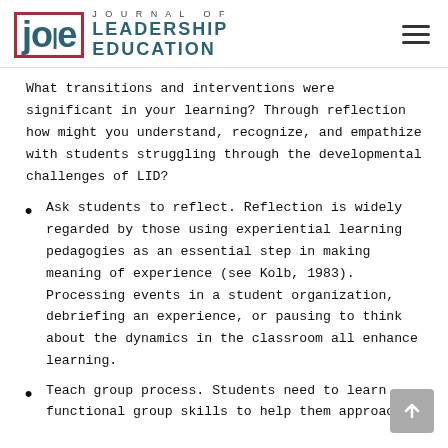JOURNAL OF LEADERSHIP EDUCATION
What transitions and interventions were significant in your learning? Through reflection how might you understand, recognize, and empathize with students struggling through the developmental challenges of LID?
Ask students to reflect. Reflection is widely regarded by those using experiential learning pedagogies as an essential step in making meaning of experience (see Kolb, 1983). Processing events in a student organization, debriefing an experience, or pausing to think about the dynamics in the classroom all enhance learning.
Teach group process. Students need to learn functional group skills to help them approach